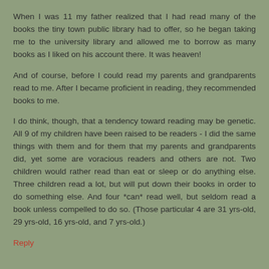When I was 11 my father realized that I had read many of the books the tiny town public library had to offer, so he began taking me to the university library and allowed me to borrow as many books as I liked on his account there. It was heaven!
And of course, before I could read my parents and grandparents read to me. After I became proficient in reading, they recommended books to me.
I do think, though, that a tendency toward reading may be genetic. All 9 of my children have been raised to be readers - I did the same things with them and for them that my parents and grandparents did, yet some are voracious readers and others are not. Two children would rather read than eat or sleep or do anything else. Three children read a lot, but will put down their books in order to do something else. And four *can* read well, but seldom read a book unless compelled to do so. (Those particular 4 are 31 yrs-old, 29 yrs-old, 16 yrs-old, and 7 yrs-old.)
Reply